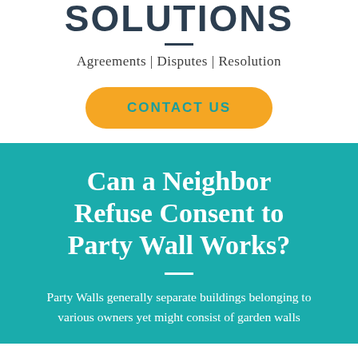SOLUTIONS
Agreements | Disputes | Resolution
[Figure (other): Yellow rounded button labeled CONTACT US in teal text]
Can a Neighbor Refuse Consent to Party Wall Works?
Party Walls generally separate buildings belonging to various owners yet might consist of garden walls